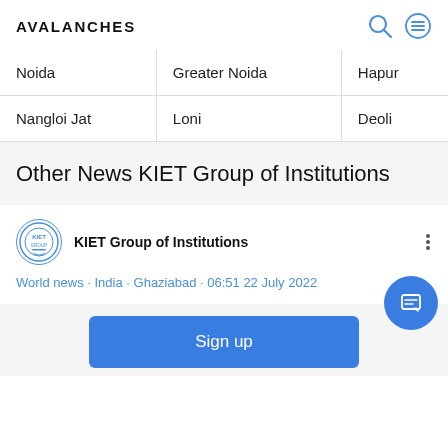AVALANCHES
| Noida | Greater Noida | Hapur |
| Nangloi Jat | Loni | Deoli |
Other News KIET Group of Institutions
KIET Group of Institutions
World news • India • Ghaziabad • 06:51 22 July 2022
Sign up